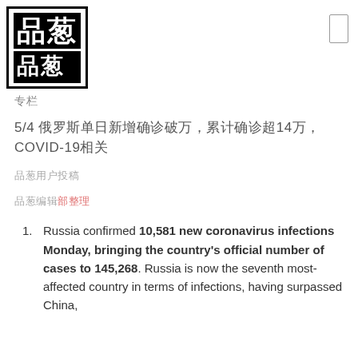[Figure (logo): 品葱 logo — black square border containing white-on-black Chinese characters 品 and 葱]
专栏
5/4 俄罗斯单日新增确诊破万，累计确诊超14万， COVID-19相关
品葱用户投稿
品葱编辑部整理
Russia confirmed 10,581 new coronavirus infections Monday, bringing the country's official number of cases to 145,268. Russia is now the seventh most-affected country in terms of infections, having surpassed China,